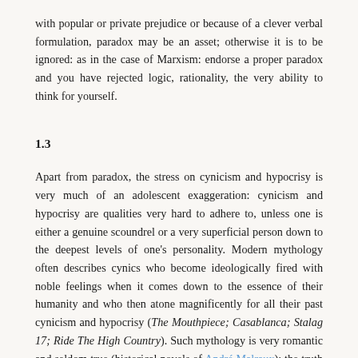with popular or private prejudice or because of a clever verbal formulation, paradox may be an asset; otherwise it is to be ignored: as in the case of Marxism: endorse a proper paradox and you have rejected logic, rationality, the very ability to think for yourself.
1.3
Apart from paradox, the stress on cynicism and hypocrisy is very much of an adolescent exaggeration: cynicism and hypocrisy are qualities very hard to adhere to, unless one is either a genuine scoundrel or a very superficial person down to the deepest levels of one's personality. Modern mythology often describes cynics who become ideologically fired with noble feelings when it comes down to the essence of their humanity and who then atone magnificently for all their past cynicism and hypocrisy (The Mouthpiece; Casablanca; Stalag 17; Ride The High Country). Such mythology is very romantic and seldom true (historical novels of André Malraux); the truth is there, all right, but it is seldom romantic.
In his largely autobiographical novel Of Human Bondage, William Somerset Maugham tells a moving and thought-provoking story. The hero is a young English art student lost in a middling art school in Paris.